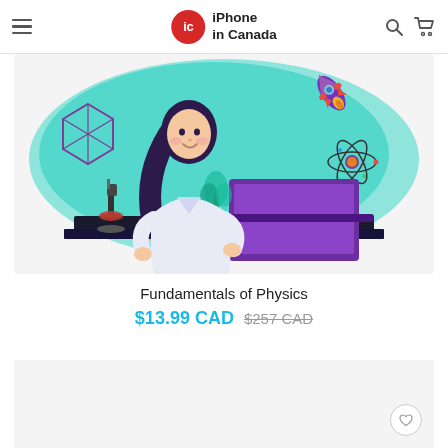iPhone in Canada
[Figure (illustration): Flat-style illustration of a female scientist with long dark hair in a white lab coat, sitting at a dark desk with a pink microscope on her left and a purple laptop open in front of her. Background is a teal/cyan gradient blob shape with a rocket launching in the upper right, an atom symbol, purple 3D crystal geometry on the left, and decorative aquatic plants.]
Fundamentals of Physics
$13.99 CAD $257 CAD
[Figure (other): Bottom product card area with a circular heart/wishlist button in the bottom right corner]